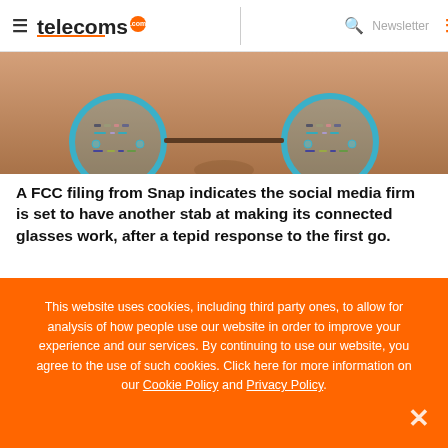telecoms.com — Newsletter
[Figure (photo): Close-up of smart glasses with teal/turquoise circular lenses showing electronic components, against a skin-toned background]
A FCC filing from Snap indicates the social media firm is set to have another stab at making its connected glasses work, after a tepid response to the first go.
This website uses cookies, including third party ones, to allow for analysis of how people use our website in order to improve your experience and our services. By continuing to use our website, you agree to the use of such cookies. Click here for more information on our Cookie Policy and Privacy Policy.